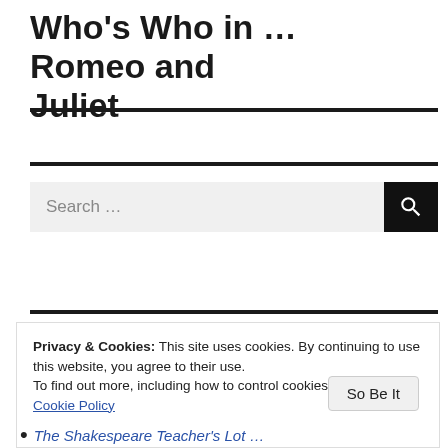Who's Who in … Romeo and Juliet
[Figure (other): Search bar with text input field reading 'Search …' and a black search button with magnifying glass icon]
Privacy & Cookies: This site uses cookies. By continuing to use this website, you agree to their use.
To find out more, including how to control cookies, see here: Our Cookie Policy
The Shakespeare Teacher's Lot …